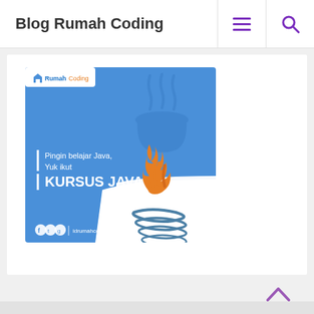Blog Rumah Coding
[Figure (illustration): Java course promotional banner with blue background, Java coffee cup logo with orange steam flames, text 'Pingin belajar Java, Yuk ikut KURSUS JAVA', RumahCoding branding, social media icons at bottom]
[Figure (other): Chevron/arrow up button in purple color for back-to-top navigation]